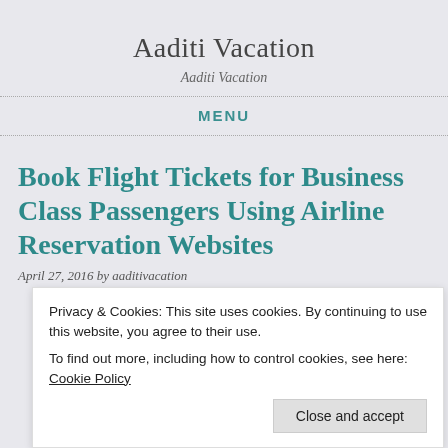Aaditi Vacation
Aaditi Vacation
MENU
Book Flight Tickets for Business Class Passengers Using Airline Reservation Websites
April 27, 2016 by aaditivacation
Privacy & Cookies: This site uses cookies. By continuing to use this website, you agree to their use.
To find out more, including how to control cookies, see here: Cookie Policy
Close and accept